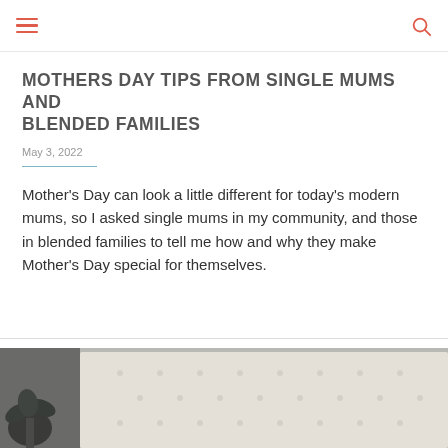MOTHERS DAY TIPS FROM SINGLE MUMS AND BLENDED FAMILIES
May 3, 2022
Mother's Day can look a little different for today's modern mums, so I asked single mums in my community, and those in blended families to tell me how and why they make Mother's Day special for themselves.
[Figure (photo): Bedroom scene showing a tufted upholstered headboard with a plant in the lower left corner, viewed from above/angle]